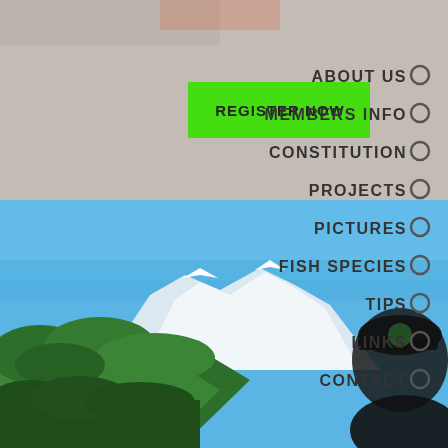[Figure (screenshot): Website navigation screenshot showing a fishing or outdoor club website. Top half has a beige/gray background with a green 'REGISTER NOW' button. Navigation menu on the right side lists: ABOUT US, MEMBERS INFO, CONSTITUTION, PROJECTS, PICTURES, FISH SPECIES, TIPS, LINKS, CONTACT — each with a circle radio button. Bottom half shows a scenic outdoor photo with blue sky, snow-capped mountains, green forested hillsides, and a person wearing a black cap on the right side.]